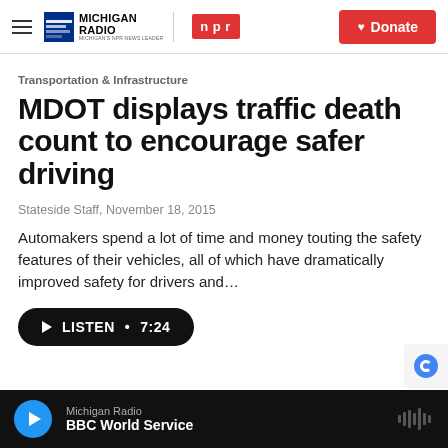Michigan Radio | NPR | Donate
Transportation & Infrastructure
MDOT displays traffic death count to encourage safer driving
Stateside Staff, November 18, 2015
Automakers spend a lot of time and money touting the safety features of their vehicles, all of which have dramatically improved safety for drivers and…
LISTEN • 7:24
Michigan Radio — BBC World Service